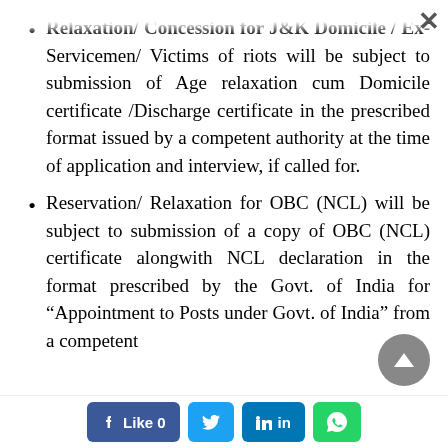Relaxation/ Concession for J&K Domicile / Ex-Servicemen/ Victims of riots will be subject to submission of Age relaxation cum Domicile certificate /Discharge certificate in the prescribed format issued by a competent authority at the time of application and interview, if called for.
Reservation/ Relaxation for OBC (NCL) will be subject to submission of a copy of OBC (NCL) certificate alongwith NCL declaration in the format prescribed by the Govt. of India for “Appointment to Posts under Govt. of India” from a competent